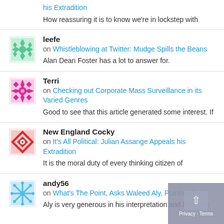How reassuring it is to know we're in lockstep with
leefe on Whistleblowing at Twitter: Mudge Spills the Beans — Alan Dean Foster has a lot to answer for.
Terri on Checking out Corporate Mass Surveillance in its Varied Genres — Good to see that this article generated some interest. If
New England Cocky on It's All Political: Julian Assange Appeals his Extradition — It is the moral duty of every thinking citizen of
andy56 on What's The Point, Asks Waleed Aly, Pointlessly… — Aly is very generous in his interpretation and liberal in